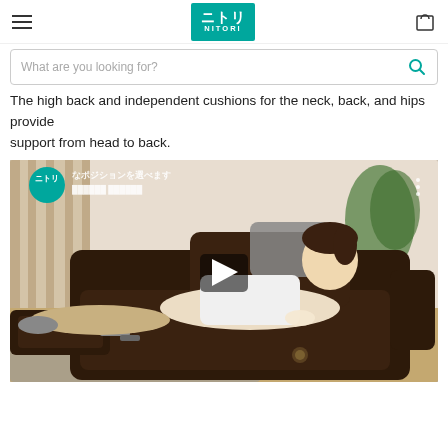NITORI navigation header with hamburger menu, Nitori logo, and cart icon
What are you looking for?
The high back and independent cushions for the neck, back, and hips provide support from head to back.
[Figure (screenshot): Video thumbnail showing a woman reclining on a dark brown leather recliner sofa with Nitori logo and Japanese text overlay, and a play button in the center]